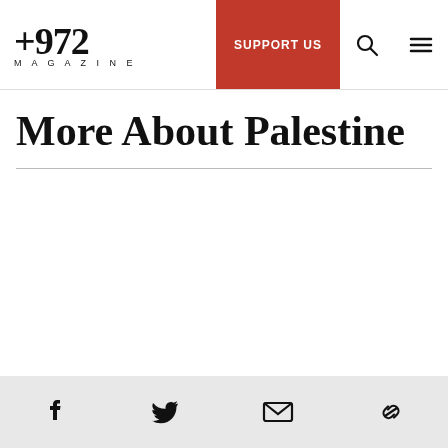+972 MAGAZINE | SUPPORT US
More About Palestine
Social icons: Facebook, Twitter, Email, Link